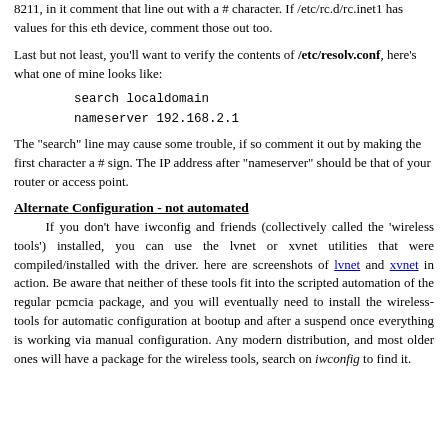8211, in it comment that line out with a # character. If /etc/rc.d/rc.inet1 has values for this eth device, comment those out too.
Last but not least, you'll want to verify the contents of /etc/resolv.conf, here's what one of mine looks like:
search localdomain
nameserver 192.168.2.1
The "search" line may cause some trouble, if so comment it out by making the first character a # sign. The IP address after "nameserver" should be that of your router or access point.
Alternate Configuration - not automated
If you don't have iwconfig and friends (collectively called the 'wireless tools') installed, you can use the lvnet or xvnet utilities that were compiled/installed with the driver. here are screenshots of lvnet and xvnet in action. Be aware that neither of these tools fit into the scripted automation of the regular pcmcia package, and you will eventually need to install the wireless-tools for automatic configuration at bootup and after a suspend once everything is working via manual configuration. Any modern distribution, and most older ones will have a package for the wireless tools, search on iwconfig to find it.